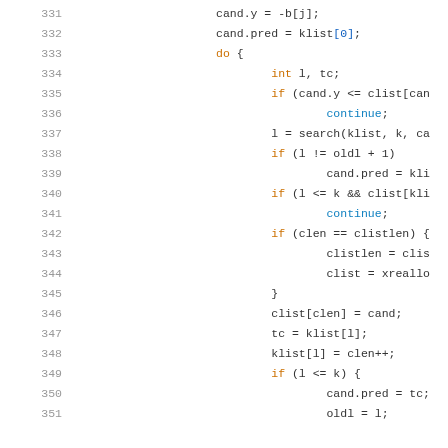Code listing lines 331–351 showing C code snippet
331    cand.y = -b[j];
332    cand.pred = klist[0];
333    do {
334        int l, tc;
335        if (cand.y <= clist[can
336            continue;
337        l = search(klist, k, ca
338        if (l != oldl + 1)
339            cand.pred = kli
340        if (l <= k && clist[kli
341            continue;
342        if (clen == clistlen) {
343            clistlen = clis
344            clist = xreallo
345        }
346        clist[clen] = cand;
347        tc = klist[l];
348        klist[l] = clen++;
349        if (l <= k) {
350            cand.pred = tc;
351            oldl = l;